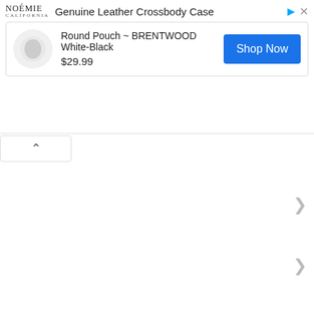[Figure (screenshot): Advertisement banner for NOÉMIE Genuine Leather Crossbody Case featuring Round Pouch BRENTWOOD White-Black at $29.99 with a Shop Now button]
PO Box 86, 6281, Dunsborough, WA
Dunsborough Water Boring & Reticulation
PO Box 86, 6281, Dunsborough, WA
Phone
Dunsborough Fibreglass
3 Clark Street, 6281, Dunsborough, WA
Phone